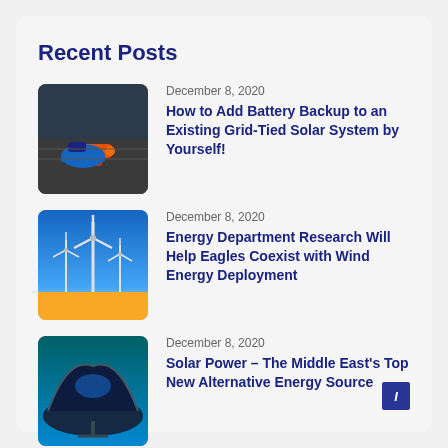Recent Posts
[Figure (photo): Worker with orange drill gun and blue hard hat on rooftop solar installation]
December 8, 2020
How to Add Battery Backup to an Existing Grid-Tied Solar System by Yourself!
[Figure (photo): Wind turbines in a field under blue sky]
December 8, 2020
Energy Department Research Will Help Eagles Coexist with Wind Energy Deployment
[Figure (photo): Solar panel dish against blue sky]
December 8, 2020
Solar Power – The Middle East's Top New Alternative Energy Source
I